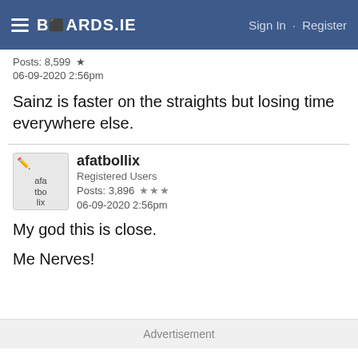BOARDS.IE   Sign In · Register
Posts: 8,599 ★
06-09-2020 2:56pm
Sainz is faster on the straights but losing time everywhere else.
afatbollix
Registered Users
Posts: 3,896 ★★★
06-09-2020 2:56pm
My god this is close.
Me Nerves!
Advertisement